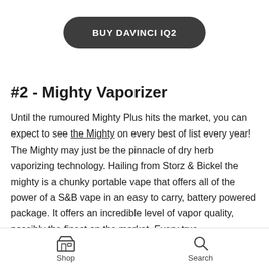[Figure (other): Dark rounded rectangle button with white bold text reading 'BUY DAVINCI IQ2']
#2 - Mighty Vaporizer
Until the rumoured Mighty Plus hits the market, you can expect to see the Mighty on every best of list every year! The Mighty may just be the pinnacle of dry herb vaporizing technology. Hailing from Storz & Bickel the mighty is a chunky portable vape that offers all of the power of a S&B vape in an easy to carry, battery powered package. It offers an incredible level of vapor quality, possibly the finest on the market. Every true
Shop   Search